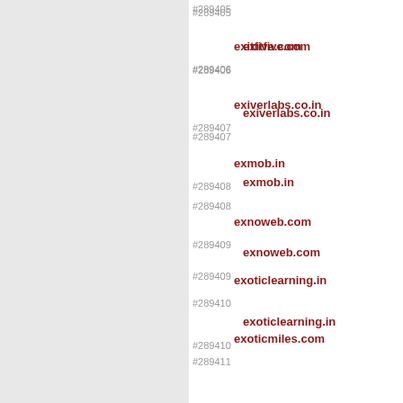#289405
#289406
exitfive.com
#289407
exiverlabs.co.in
#289408
exmob.in
#289409
exnoweb.com
#289410
exoticlearning.in
#289411
exoticmiles.com
#289412
expatnights.com
#289413
expats-paris.com
#289414
expediteiptv.net
#289415
expeditiontour.com
#289416
expel.io
#289417
expenzing.com